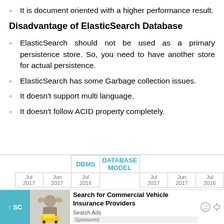It is document oriented with a higher performance result.
Disadvantage of ElasticSearch Database
ElasticSearch should not be used as a primary persistence store. So, you need to have another store for actual persistence.
ElasticSearch has some Garbage collection issues.
It doesn't support multi language.
It doesn't follow ACID property completely.
|  | DBMS | DATABASE MODEL |  |  |  |
| --- | --- | --- | --- | --- | --- |
| Jul 2017 | Jun 2017 | Jul 2016 | Jul 2017 | Jun 2017 | Jul 2016 |
[Figure (other): Advertisement overlay: Search for Commercial Vehicle Insurance Providers - Search Ads, sponsored. Shows image of person with hands on head and a yellow car toy.]